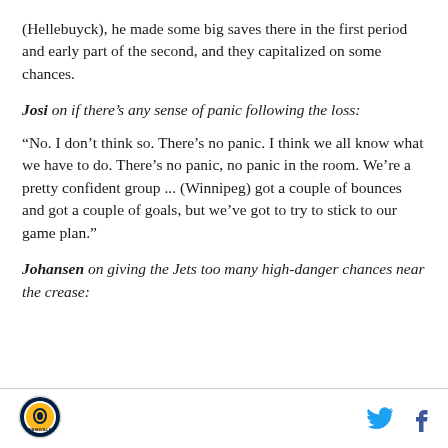(Hellebuyck), he made some big saves there in the first period and early part of the second, and they capitalized on some chances.
Josi on if there’s any sense of panic following the loss:
“No. I don’t think so. There’s no panic. I think we all know what we have to do. There’s no panic, no panic in the room. We’re a pretty confident group ... (Winnipeg) got a couple of bounces and got a couple of goals, but we’ve got to try to stick to our game plan.”
Johansen on giving the Jets too many high-danger chances near the crease:
[Figure (logo): Nashville Predators circular logo]
[Figure (other): Twitter and Facebook social media icons]